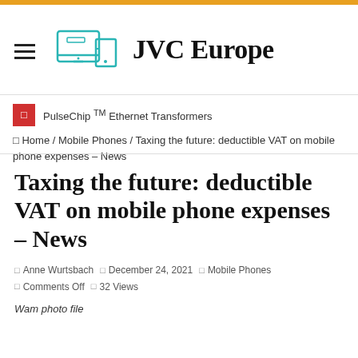JVC Europe
PulseChip ™ Ethernet Transformers
⌂ Home / Mobile Phones / Taxing the future: deductible VAT on mobile phone expenses – News
Taxing the future: deductible VAT on mobile phone expenses – News
Anne Wurtsbach   December 24, 2021   Mobile Phones   Comments Off   32 Views
Wam photo file